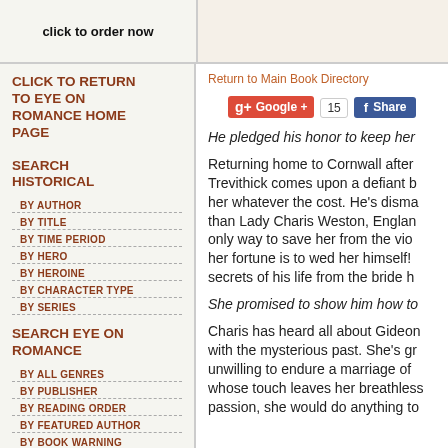click to order now
Return to Main Book Directory
CLICK TO RETURN TO EYE ON ROMANCE HOME PAGE
SEARCH HISTORICAL
BY AUTHOR
BY TITLE
BY TIME PERIOD
BY HERO
BY HEROINE
BY CHARACTER TYPE
BY SERIES
SEARCH EYE ON ROMANCE
BY ALL GENRES
BY PUBLISHER
BY READING ORDER
BY FEATURED AUTHOR
BY BOOK WARNING
He pledged his honor to keep her
Returning home to Cornwall after Trevithick comes upon a defiant h her whatever the cost. He's disma than Lady Charis Weston, Englan only way to save her from the vio her fortune is to wed her himself! secrets of his life from the bride h
She promised to show him how to
Charis has heard all about Gideon with the mysterious past. She's gr unwilling to endure a marriage of whose touch leaves her breathless passion, she would do anything to